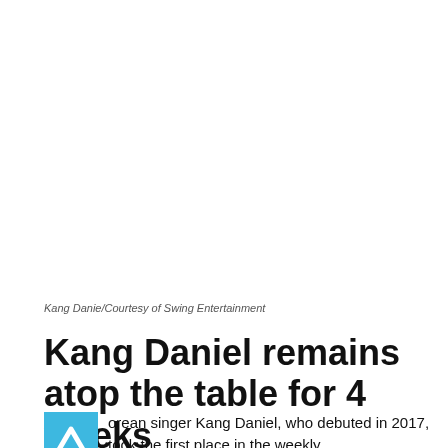[Figure (photo): White/blank image area representing a photo placeholder at the top of the article]
Kang Danie/Courtesy of Swing Entertainment
Kang Daniel remains atop the table for 4 weeks
orean singer Kang Daniel, who debuted in 2017, took the first place in the weekly